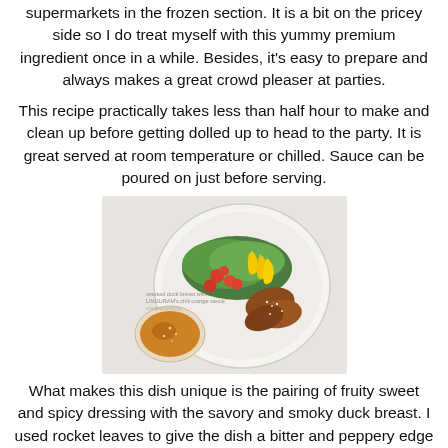supermarkets in the frozen section. It is a bit on the pricey side so I do treat myself with this yummy premium ingredient once in a while. Besides, it's easy to prepare and always makes a great crowd pleaser at parties.
This recipe practically takes less than half hour to make and clean up before getting dolled up to head to the party. It is great served at room temperature or chilled. Sauce can be poured on just before serving.
[Figure (photo): A bowl of salad with smoked duck breast, rocket leaves, yellow bell pepper strips, cherry tomatoes, and a small bowl of chili orange sauce on the side. Caption overlay reads: smoked duck breast with LINGURAM's chili orange sauce]
What makes this dish unique is the pairing of fruity sweet and spicy dressing with the savory and smoky duck breast. I used rocket leaves to give the dish a bitter and peppery edge but you can use normal mixed greens if you don't like rocket